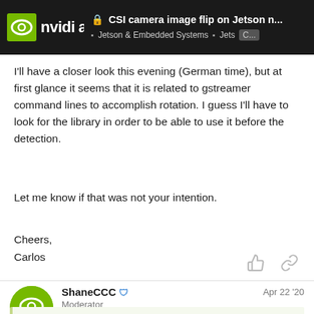CSI camera image flip on Jetson n... | Jetson & Embedded Systems | Jets... C...
I'll have a closer look this evening (German time), but at first glance it seems that it is related to gstreamer command lines to accomplish rotation. I guess I'll have to look for the library in order to be able to use it before the detection.
Let me know if that was not your intention.
Cheers,
Carlos
ShaneCCC  Moderator  Apr 22 '20
Yes, it's a for the gstreamer command parameter. There's still have v4l2 video converter API for it. Have